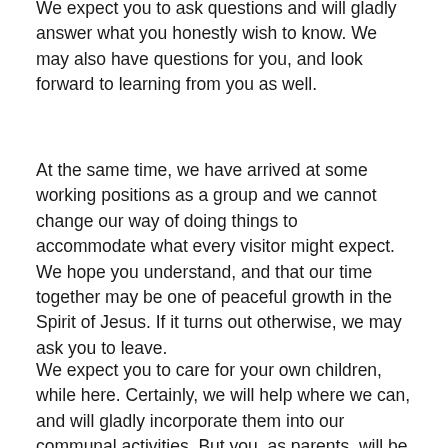We expect you to ask questions and will gladly answer what you honestly wish to know. We may also have questions for you, and look forward to learning from you as well.
At the same time, we have arrived at some working positions as a group and we cannot change our way of doing things to accommodate what every visitor might expect. We hope you understand, and that our time together may be one of peaceful growth in the Spirit of Jesus. If it turns out otherwise, we may ask you to leave.
We expect you to care for your own children, while here. Certainly, we will help where we can, and will gladly incorporate them into our communal activities. But you, as parents, will be responsible for them at all times.
If we meet one another with honest hearts, in humility, in